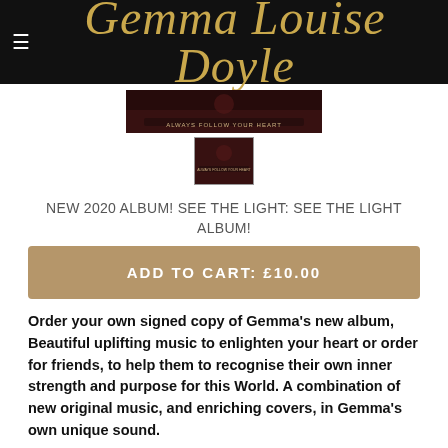Gemma Louise Doyle
[Figure (photo): Album cover image for 'See The Light' showing a dark moody scene with text 'ALWAYS FOLLOW YOUR HEART']
[Figure (photo): Thumbnail of the same album cover]
NEW 2020 ALBUM! SEE THE LIGHT: SEE THE LIGHT ALBUM!
ADD TO CART: £10.00
Order your own signed copy of Gemma's new album, Beautiful uplifting music to enlighten your heart or order for friends, to help them to recognise their own inner strength and purpose for this World. A combination of new original music, and enriching covers, in Gemma's own unique sound.